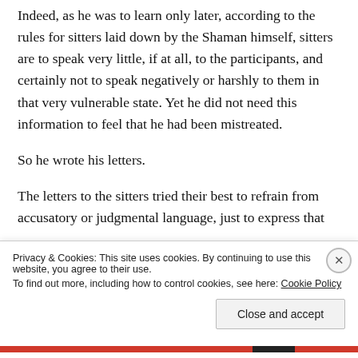Indeed, as he was to learn only later, according to the rules for sitters laid down by the Shaman himself, sitters are to speak very little, if at all, to the participants, and certainly not to speak negatively or harshly to them in that very vulnerable state. Yet he did not need this information to feel that he had been mistreated.
So he wrote his letters.
The letters to the sitters tried their best to refrain from accusatory or judgmental language, just to express that
Privacy & Cookies: This site uses cookies. By continuing to use this website, you agree to their use.
To find out more, including how to control cookies, see here: Cookie Policy
Close and accept